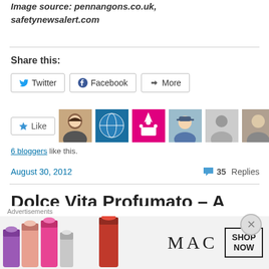Image source: pennangons.co.uk, safetynewsalert.com
Share this:
[Figure (screenshot): Social share buttons: Twitter, Facebook, More]
[Figure (screenshot): Like button with 6 blogger avatars]
6 bloggers like this.
August 30, 2012   💬 35 Replies
Dolce Vita Profumato – A Visit
[Figure (screenshot): MAC Cosmetics advertisement banner with lipsticks and SHOP NOW button]